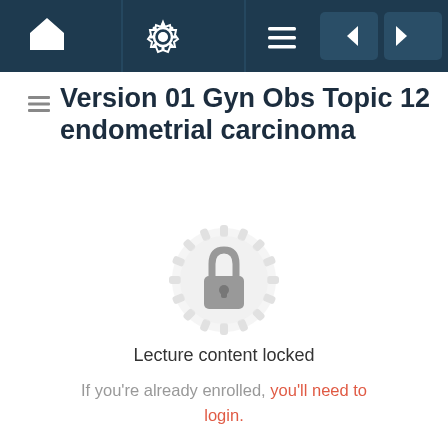[Figure (screenshot): Navigation bar with home, settings, and menu icons on left; back and forward arrow buttons on right, dark navy background]
Version 01 Gyn Obs Topic 12 endometrial carcinoma
[Figure (illustration): A locked padlock icon centered inside a decorative circular gear/mandala badge in light gray]
Lecture content locked
If you're already enrolled, you'll need to login.